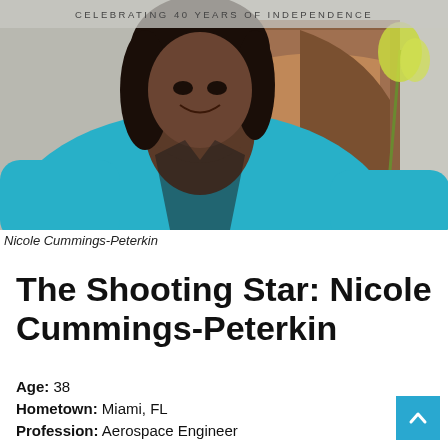[Figure (photo): Portrait photo of Nicole Cummings-Peterkin, a woman wearing a teal/cyan blazer, smiling, with a banner in the background reading 'Celebrating 40 Years of Independence']
Nicole Cummings-Peterkin
The Shooting Star: Nicole Cummings-Peterkin
Age: 38
Hometown: Miami, FL
Profession: Aerospace Engineer